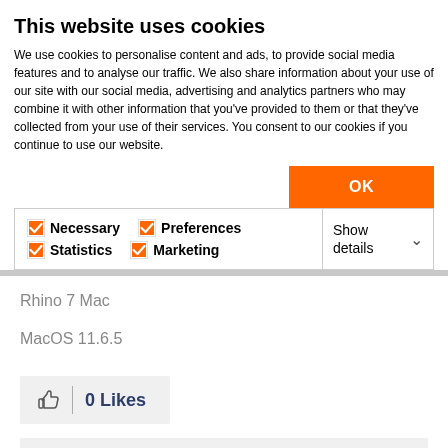This website uses cookies
We use cookies to personalise content and ads, to provide social media features and to analyse our traffic. We also share information about your use of our site with our social media, advertising and analytics partners who may combine it with other information that you've provided to them or that they've collected from your use of their services. You consent to our cookies if you continue to use our website.
OK
Necessary   Preferences   Statistics   Marketing   Show details
Rhino 7 Mac
MacOS 11.6.5
0 Likes
Share